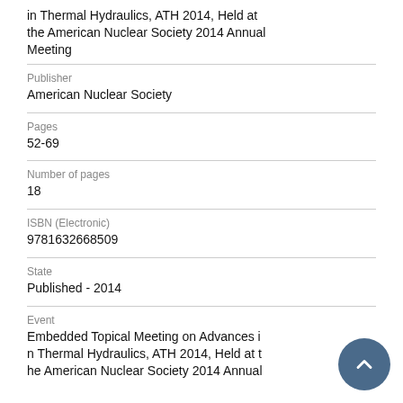in Thermal Hydraulics, ATH 2014, Held at the American Nuclear Society 2014 Annual Meeting
Publisher
American Nuclear Society
Pages
52-69
Number of pages
18
ISBN (Electronic)
9781632668509
State
Published - 2014
Event
Embedded Topical Meeting on Advances in Thermal Hydraulics, ATH 2014, Held at the American Nuclear Society 2014 Annual